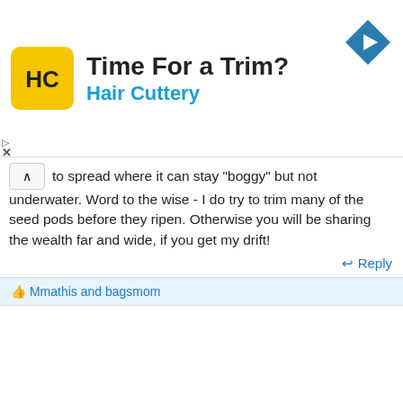[Figure (infographic): Hair Cuttery advertisement banner: yellow square logo with HC initials, 'Time For a Trim?' heading, 'Hair Cuttery' subheading in blue, blue diamond arrow icon top right]
to spread where it can stay "boggy" but not underwater. Word to the wise - I do try to trim many of the seed pods before they ripen. Otherwise you will be sharing the wealth far and wide, if you get my drift!
Reply
Mmathis and bagsmom
GBBUDD
Jun 20, 2022
#10
Its pretty agressive here in the north east. i see fields of it on the row.. i Get your drift @Lisak1 but i will say this few